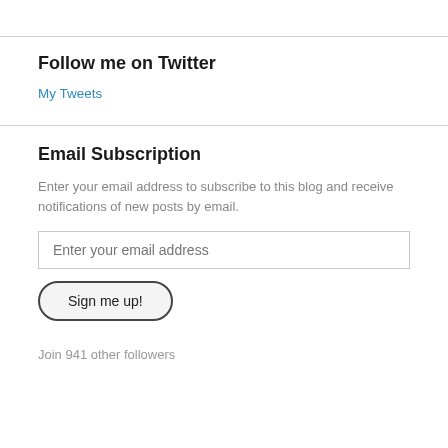Follow me on Twitter
My Tweets
Email Subscription
Enter your email address to subscribe to this blog and receive notifications of new posts by email.
Enter your email address
Sign me up!
Join 941 other followers